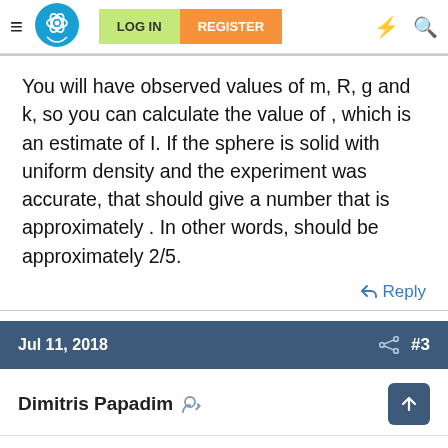LOG IN | REGISTER
You will have observed values of m, R, g and k, so you can calculate the value of , which is an estimate of I. If the sphere is solid with uniform density and the experiment was accurate, that should give a number that is approximately . In other words, should be approximately 2/5.
↩ Reply
Jul 11, 2018  #3
Dimitris Papadim
Thank you very much!!